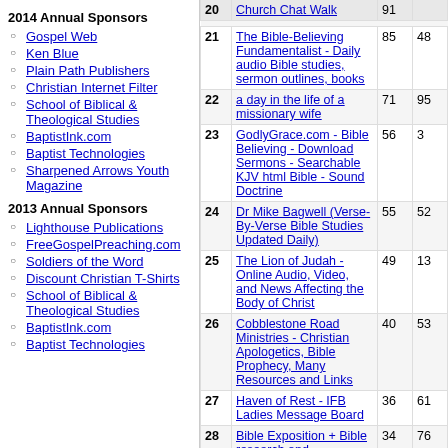2014 Annual Sponsors
Gospel Web
Ken Blue
Plain Path Publishers
Christian Internet Filter
School of Biblical & Theological Studies
BaptistInk.com
Baptist Technologies
Sharpened Arrows Youth Magazine
2013 Annual Sponsors
Lighthouse Publications
FreeGospelPreaching.com
Soldiers of the Word
Discount Christian T-Shirts
School of Biblical & Theological Studies
BaptistInk.com
Baptist Technologies
| # | Site | Col3 | Col4 |
| --- | --- | --- | --- |
| 21 | The Bible-Believing Fundamentalist - Daily audio Bible studies, sermon outlines, books | 85 | 48 |
| 22 | a day in the life of a missionary wife | 71 | 95 |
| 23 | GodlyGrace.com - Bible Believing - Download Sermons - Searchable KJV html Bible - Sound Doctrine | 56 | 3 |
| 24 | Dr Mike Bagwell (Verse-By-Verse Bible Studies Updated Daily) | 55 | 52 |
| 25 | The Lion of Judah - Online Audio, Video, and News Affecting the Body of Christ | 49 | 13 |
| 26 | Cobblestone Road Ministries - Christian Apologetics, Bible Prophecy, Many Resources and Links | 40 | 53 |
| 27 | Haven of Rest - IFB Ladies Message Board | 36 | 61 |
| 28 | Bible Exposition + Bible research and memorization tools | 34 | 76 |
| 29 | Learn the Bible 5.00 stars | 32 | 44 |
| 30 | ChildCare Action Project (CAP) Ministry - Christian Movie Analysis Reports for Parents | 29 | 48 |
| 31 | Abba's Watchman - Babylon = Nuked ! Damascus a heap of ruin ! 4.00 stars | 27 | 72 |
| 32 | God Loves People | 26 | 29 |